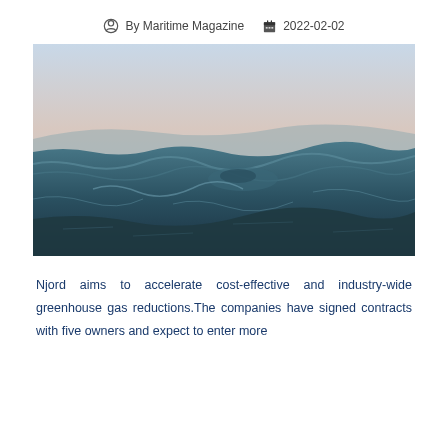By Maritime Magazine   2022-02-02
[Figure (photo): Ocean surface photo showing dark teal waves in the foreground with a calm horizon and pale pink/blue sky in the background.]
Njord aims to accelerate cost-effective and industry-wide greenhouse gas reductions.The companies have signed contracts with five owners and expect to enter more